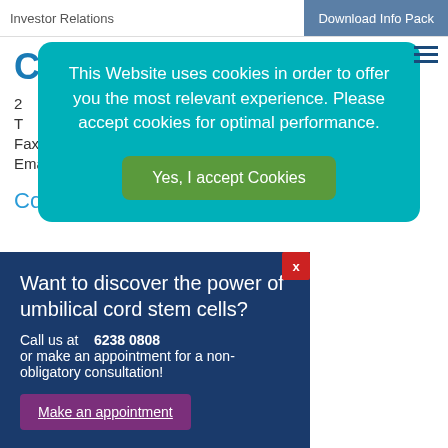Investor Relations | Download Info Pack
CO...
2...
T...
Fax : +603 2164 9808
Email: info@stemlife.com
Cordlife Myanmar
This Website uses cookies in order to offer you the most relevant experience. Please accept cookies for optimal performance.
Yes, I accept Cookies
Want to discover the power of umbilical cord stem cells?
Call us at   6238 0808
or make an appointment for a non-obligatory consultation!
Make an appointment